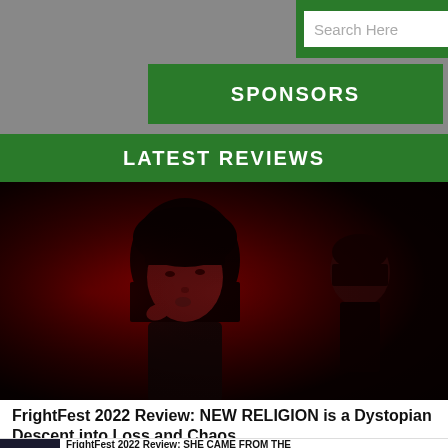[Figure (screenshot): Search bar with white input field labeled 'Search Here' and green background with search icon, on a website UI]
SPONSORS
LATEST REVIEWS
[Figure (photo): Dark red-tinted cinematic still showing two figures — a woman with a bob haircut in the foreground and another figure in the background — lit with deep red light]
FrightFest 2022 Review: NEW RELIGION is a Dystopian Descent into Loss and Chaos
[Figure (photo): Small thumbnail image for a second review article, dark toned]
FrightFest 2022 Review: SHE CAME FROM THE